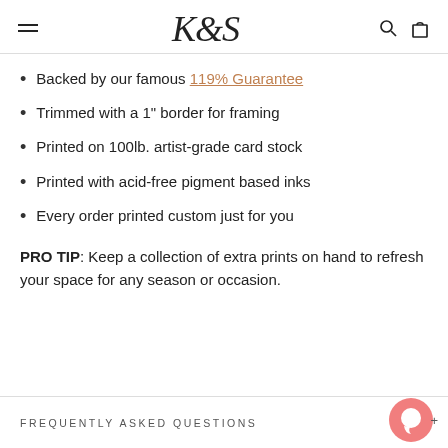K&S logo with hamburger menu and search/cart icons
Backed by our famous 119% Guarantee
Trimmed with a 1" border for framing
Printed on 100lb. artist-grade card stock
Printed with acid-free pigment based inks
Every order printed custom just for you
PRO TIP: Keep a collection of extra prints on hand to refresh your space for any season or occasion.
FREQUENTLY ASKED QUESTIONS